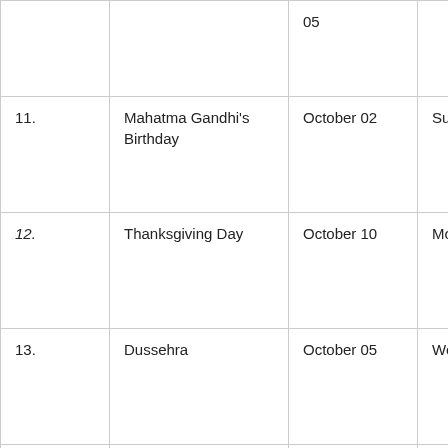|  |  | 05 |  |
| 11. | Mahatma Gandhi's Birthday | October 02 | Sunday |
| 12. | Thanksgiving Day | October 10 | Monday |
| 13. | Dussehra | October 05 | Wednesday |
| 14. | Milad-un-Nabi or Id-e-Milad | October 17 | Sunday |